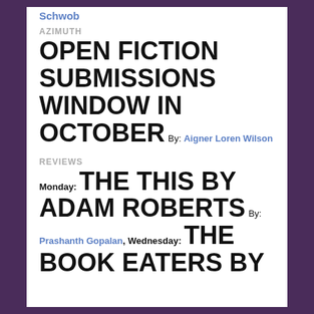Schwob
AZIMUTH
OPEN FICTION SUBMISSIONS WINDOW IN OCTOBER
By: Aigner Loren Wilson
REVIEWS
Monday: THE THIS BY ADAM ROBERTS By: Prashanth Gopalan, Wednesday: THE BOOK EATERS BY